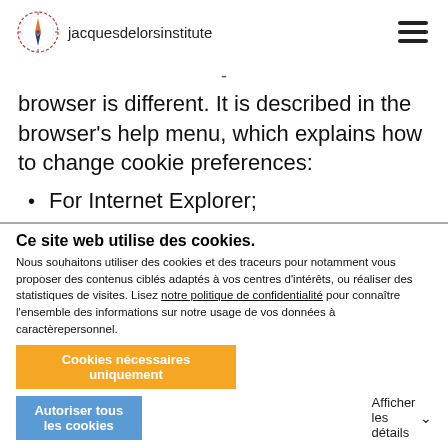jacquesdelorsinstitute
browser is different. It is described in the browser's help menu, which explains how to change cookie preferences:
For Internet Explorer;
Ce site web utilise des cookies.
Nous souhaitons utiliser des cookies et des traceurs pour notamment vous proposer des contenus ciblés adaptés à vos centres d'intérêts, ou réaliser des statistiques de visites. Lisez notre politique de confidentialité pour connaître l'ensemble des informations sur notre usage de vos données à caractèrepersonnel.
Cookies nécessaires uniquement
Autoriser tous les cookies
Afficher les détails